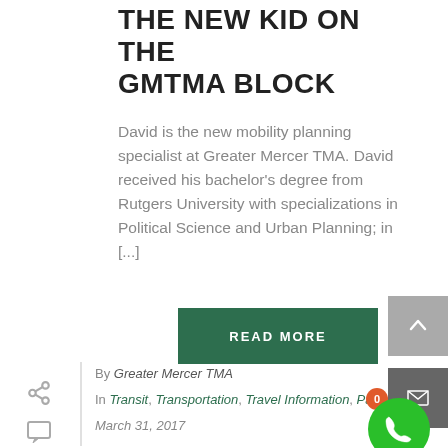THE NEW KID ON THE GMTMA BLOCK
David is the new mobility planning specialist at Greater Mercer TMA. David received his bachelor's degree from Rutgers University with specializations in Political Science and Urban Planning; in [...]
READ MORE
By Greater Mercer TMA
In Transit, Transportation, Travel Information, Pa...
March 31, 2017